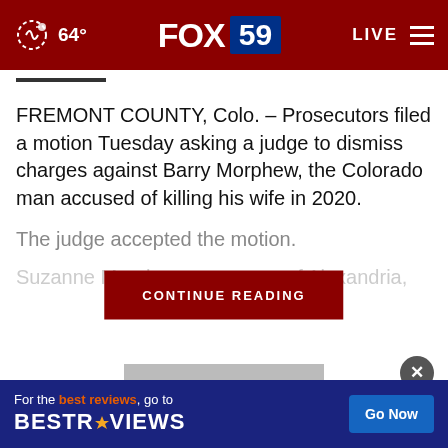64° FOX 59 LIVE
FREMONT COUNTY, Colo. – Prosecutors filed a motion Tuesday asking a judge to dismiss charges against Barry Morphew, the Colorado man accused of killing his wife in 2020.
The judge accepted the motion.
Suzanne Morph... of Alexandria,
[Figure (screenshot): CONTINUE READING button overlay in dark red]
[Figure (screenshot): BestReviews advertisement bar at bottom with Go Now button]
[Figure (photo): Partial video thumbnail at bottom of page with close X button]